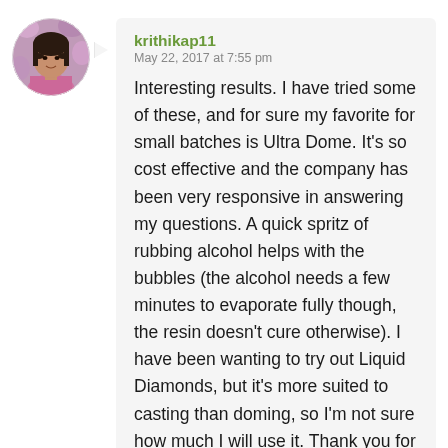[Figure (photo): Circular avatar photo of a woman with dark hair, wearing a purple/pink top, with a blurred floral purple background.]
krithikap11
May 22, 2017 at 7:55 pm
Interesting results. I have tried some of these, and for sure my favorite for small batches is Ultra Dome. It’s so cost effective and the company has been very responsive in answering my questions. A quick spritz of rubbing alcohol helps with the bubbles (the alcohol needs a few minutes to evaporate fully though, the resin doesn’t cure otherwise). I have been wanting to try out Liquid Diamonds, but it’s more suited to casting than doming, so I’m not sure how much I will use it. Thank you for